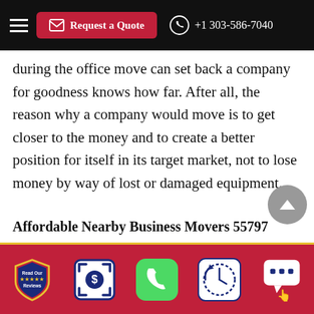Request a Quote | +1 303-586-7040
during the office move can set back a company for goodness knows how far. After all, the reason why a company would move is to get closer to the money and to create a better position for itself in its target market, not to lose money by way of lost or damaged equipment.
Affordable Nearby Business Movers 55797
To do away with the trouble involved with office moves and business relocations, all you need to do is to hire a company whose expertise revolves around moving business. This company would know the best and most efficient way of handling business moves, from creating
Read Our Reviews | $ | Phone | Clock | Chat